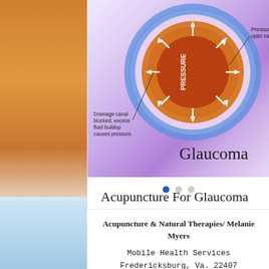[Figure (illustration): Medical illustration of an eye showing glaucoma - pressure inside the eye damaging the optic nerve, with labels: 'PRESSURE' in the center, 'Pressure damages optic nerve' on the right, 'Drainage canal blocked, excess fluid buildup causes pressure' on the left. Below the eye is the word 'Glaucoma' in large serif font. The eye has blue outer ring and orange/red interior with white arrows showing pressure directions.]
Acupuncture For Glaucoma Eyesight...
55 views
Acupuncture & Natural Therapies/ Melanie Myers
Mobile Health Services
Fredericksburg, Va. 22407